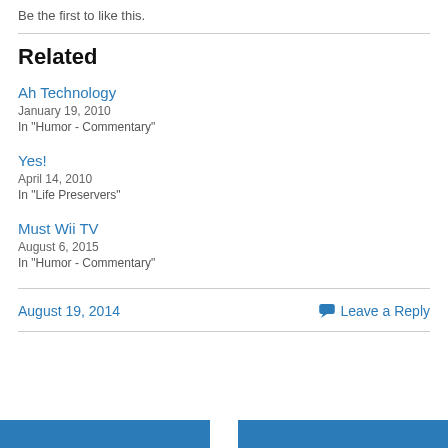Be the first to like this.
Related
Ah Technology
January 19, 2010
In "Humor - Commentary"
Yes!
April 14, 2010
In "Life Preservers"
Must Wii TV
August 6, 2015
In "Humor - Commentary"
August 19, 2014
Leave a Reply